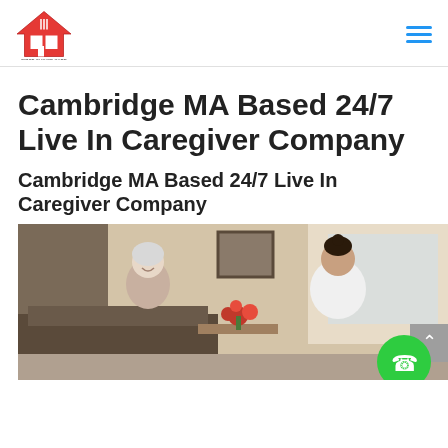First Choice Care logo and navigation
Cambridge MA Based 24/7 Live In Caregiver Company
Cambridge MA Based 24/7 Live In Caregiver Company
[Figure (photo): An elderly woman and a caregiver (nurse in white uniform) sitting together indoors, with red flowers in the foreground.]